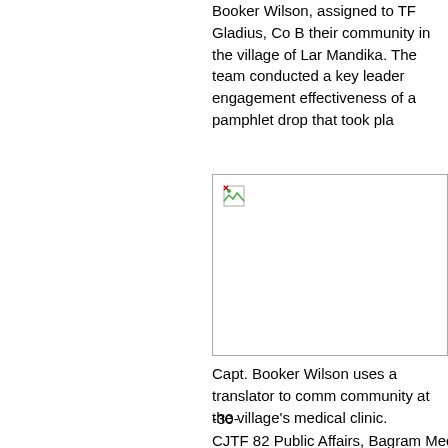Booker Wilson, assigned to TF Gladius, Co B their community in the village of Lar Mandika. The team conducted a key leader engagement effectiveness of a pamphlet drop that took pla
[Figure (photo): Photograph of Capt. Booker Wilson using a translator to communicate with the community at the village's medical clinic.]
Capt. Booker Wilson uses a translator to comm community at the village's medical clinic.
-30-
CJTF 82 Public Affairs, Bagram Media Cente
Dairy centers debut in Logar province
[Figure (photo): Photograph related to dairy centers in Logar province.]